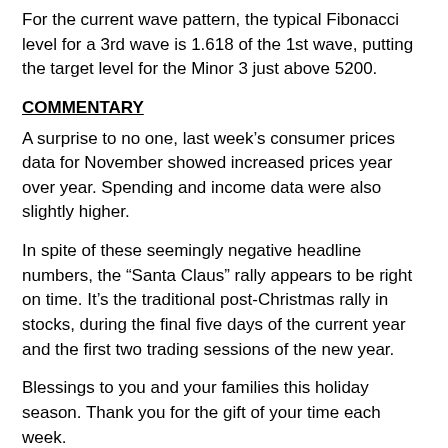For the current wave pattern, the typical Fibonacci level for a 3rd wave is 1.618 of the 1st wave, putting the target level for the Minor 3 just above 5200.
COMMENTARY
A surprise to no one, last week’s consumer prices data for November showed increased prices year over year. Spending and income data were also slightly higher.
In spite of these seemingly negative headline numbers, the “Santa Claus” rally appears to be right on time. It’s the traditional post-Christmas rally in stocks, during the final five days of the current year and the first two trading sessions of the new year.
Blessings to you and your families this holiday season. Thank you for the gift of your time each week.